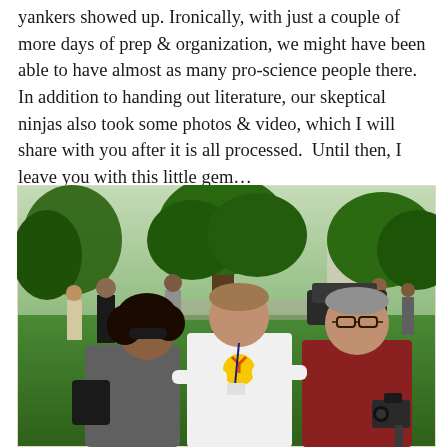yankers showed up. Ironically, with just a couple of more days of prep & organization, we might have been able to have almost as many pro-science people there. In addition to handing out literature, our skeptical ninjas also took some photos & video, which I will share with you after it is all processed.  Until then, I leave you with this little gem…
[Figure (photo): Three people posing outdoors on a grassy area. A woman with dark curly hair and sunglasses is on the left, a man in a white t-shirt with a yellow logo and lanyard is in the center, and a man in a dark red shirt holding a video camera is on the right. Trees and other people are visible in the background.]